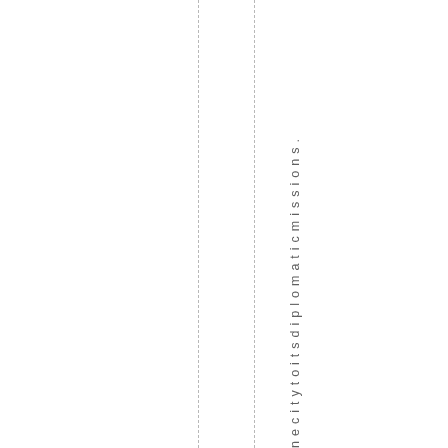necitytoitsdiplomaticmissions.